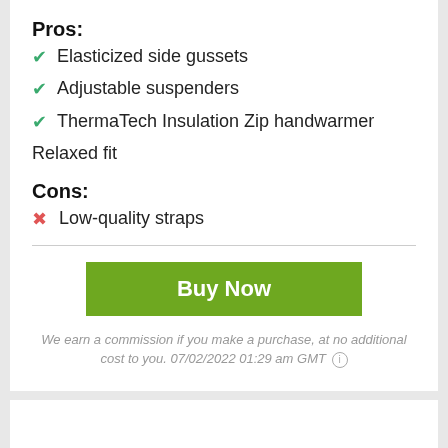Pros:
Elasticized side gussets
Adjustable suspenders
ThermaTech Insulation Zip handwarmer Relaxed fit
Cons:
Low-quality straps
Buy Now
We earn a commission if you make a purchase, at no additional cost to you. 07/02/2022 01:29 am GMT